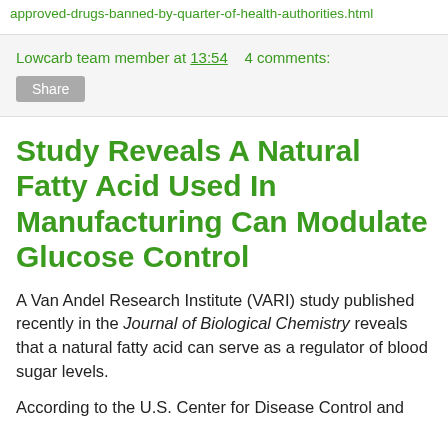approved-drugs-banned-by-quarter-of-health-authorities.html
Lowcarb team member at 13:54    4 comments:
Share
Study Reveals A Natural Fatty Acid Used In Manufacturing Can Modulate Glucose Control
A Van Andel Research Institute (VARI) study published recently in the Journal of Biological Chemistry reveals that a natural fatty acid can serve as a regulator of blood sugar levels.
According to the U.S. Center for Disease Control and